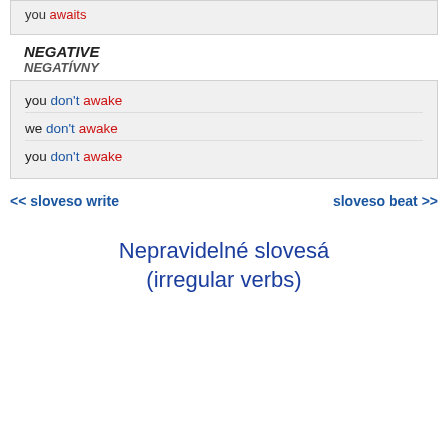you awaits
NEGATIVE
NEGATÍVNY
you don't awake
we don't awake
you don't awake
<< sloveso write    sloveso beat >>
Nepravidelné slovesá (irregular verbs)